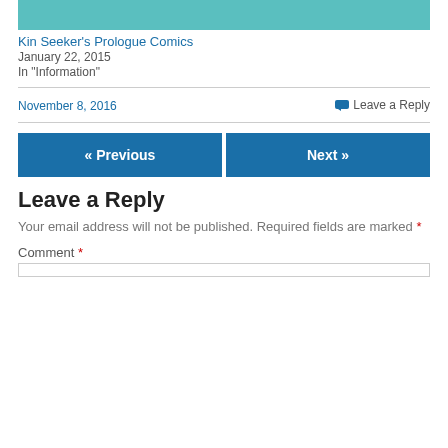[Figure (illustration): Partial teal/cyan comic strip illustration, cropped at top]
Kin Seeker's Prologue Comics
January 22, 2015
In "Information"
November 8, 2016
Leave a Reply
« Previous
Next »
Leave a Reply
Your email address will not be published. Required fields are marked *
Comment *